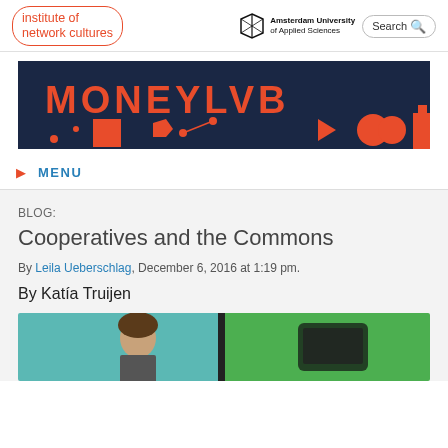institute of network cultures | Amsterdam University of Applied Sciences | Search
[Figure (illustration): Dark navy banner with red text reading MONEYLVB and red geometric shapes including a square, pentagon, circles, and triangle/play button]
▶ MENU
BLOG:
Cooperatives and the Commons
By Leila Ueberschlag, December 6, 2016 at 1:19 pm.
By Katía Truijen
[Figure (photo): Photo of a woman speaking, partially cropped, with green and black background elements]